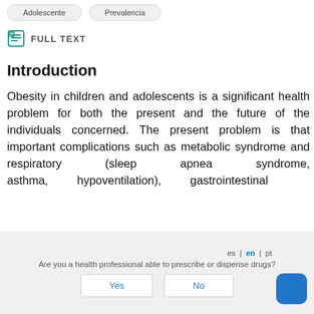[Figure (other): Two pill-shaped navigation buttons labeled 'Adolescente' and 'Prevalencia']
FULL TEXT
Introduction
Obesity in children and adolescents is a significant health problem for both the present and the future of the individuals concerned. The present problem is that important complications such as metabolic syndrome and respiratory (sleep apnea syndrome, asthma, hypoventilation), gastrointestinal
es | en | pt
Are you a health professional able to prescribe or dispense drugs?
Yes    No